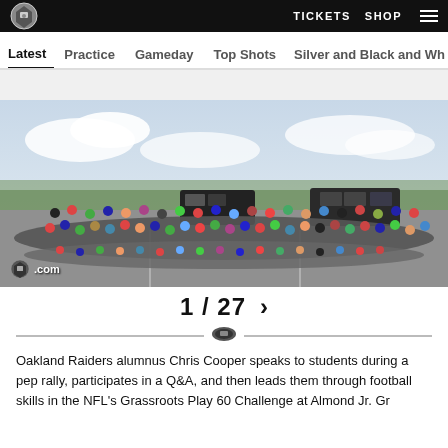TICKETS  SHOP
Latest  Practice  Gameday  Top Shots  Silver and Black and Wh
[Figure (photo): Large group photo of Oakland Raiders community event with students and staff gathered on a basketball court outdoor area, with Raiders vans in background and trees behind. Raiders.com watermark in lower left.]
1 / 27 >
Oakland Raiders alumnus Chris Cooper speaks to students during a pep rally, participates in a Q&A, and then leads them through football skills in the NFL's Grassroots Play 60 Challenge at Almond Jr. Gr